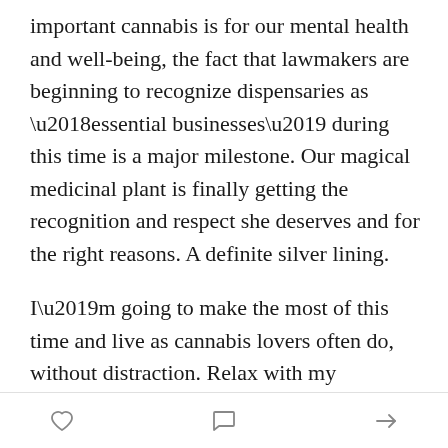important cannabis is for our mental health and well-being, the fact that lawmakers are beginning to recognize dispensaries as ‘essential businesses’ during this time is a major milestone. Our magical medicinal plant is finally getting the recognition and respect she deserves and for the right reasons. A definite silver lining.
I’m going to make the most of this time and live as cannabis lovers often do, without distraction. Relax with my daughters, a college sophomore and high school senior, reacquaint with the kitchen, and create and plan for The Highly at a thoughtful and balanced pace. Not that my editorial calendar was ever a strict thing, obviously
[heart icon] [comment icon] [share icon]